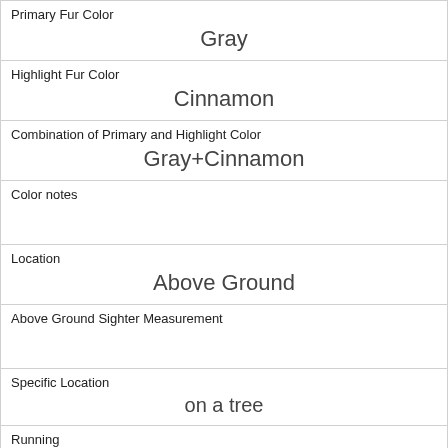| Primary Fur Color | Gray |
| Highlight Fur Color | Cinnamon |
| Combination of Primary and Highlight Color | Gray+Cinnamon |
| Color notes |  |
| Location | Above Ground |
| Above Ground Sighter Measurement |  |
| Specific Location | on a tree |
| Running | 1 |
| Chasing | 0 |
| Climbing | 0 |